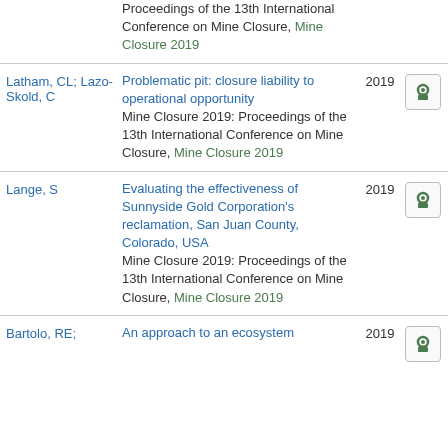Proceedings of the 13th International Conference on Mine Closure, Mine Closure 2019
Latham, CL; Lazo-Skold, C | Problematic pit: closure liability to operational opportunity | Mine Closure 2019: Proceedings of the 13th International Conference on Mine Closure, Mine Closure 2019 | 2019
Lange, S | Evaluating the effectiveness of Sunnyside Gold Corporation's reclamation, San Juan County, Colorado, USA | Mine Closure 2019: Proceedings of the 13th International Conference on Mine Closure, Mine Closure 2019 | 2019
Bartolo, RE; ... | An approach to an ecosystem... | 2019